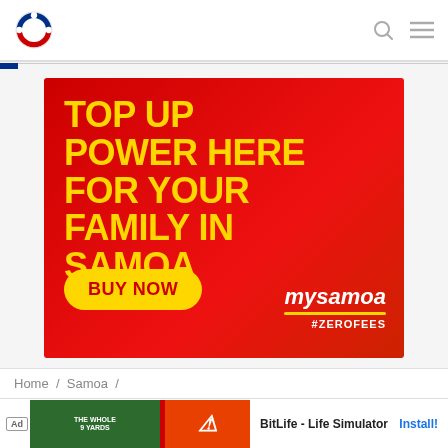RNZ Pacific logo with search and menu icons
[Figure (infographic): Red advertisement banner for mySamoa: 'TOP UP POWER HERE FOR YOUR FAMILY IN SAMOA' with yellow text, BUY NOW button, mysamoa logo and #ZEROFEES]
Home / Samoa /
Sam...
BitLife - Life Simulator Install!